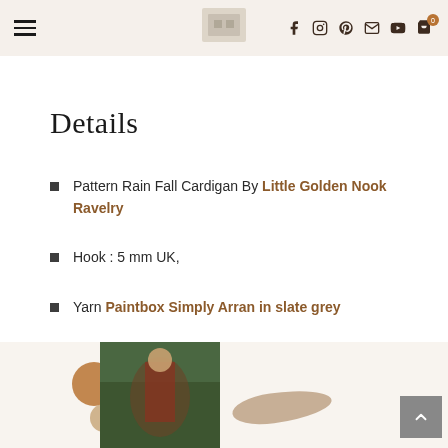Navigation header with hamburger menu, logo, and social icons (facebook, instagram, pinterest, email, youtube, cart with 0 items)
Details
Pattern Rain Fall Cardigan By Little Golden Nook Ravelry
Hook : 5 mm UK,
Yarn Paintbox Simply Arran in slate grey
[Figure (photo): Partial photo at bottom of page showing a person in outdoor green foliage setting, with decorative circles and brush stroke elements]